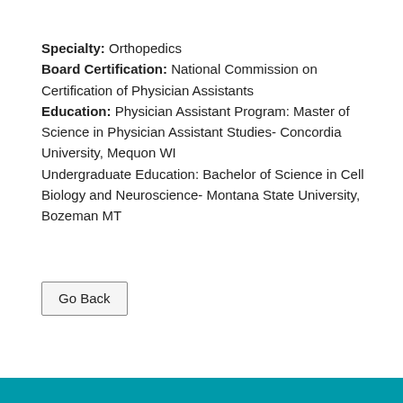Specialty: Orthopedics
Board Certification: National Commission on Certification of Physician Assistants
Education: Physician Assistant Program: Master of Science in Physician Assistant Studies- Concordia University, Mequon WI
Undergraduate Education: Bachelor of Science in Cell Biology and Neuroscience- Montana State University, Bozeman MT
Go Back